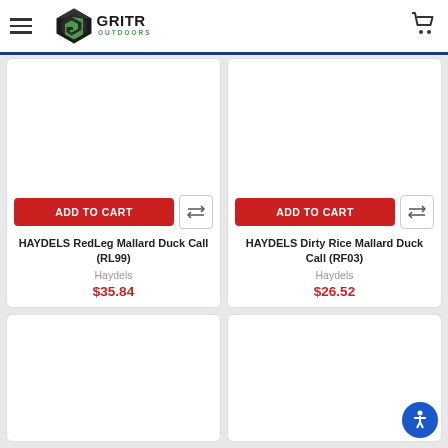GRITR OUTDOORS
[Figure (screenshot): Product card for HAYDELS RedLeg Mallard Duck Call (RL99) by Haydels, priced at $35.84]
[Figure (screenshot): Product card for HAYDELS Dirty Rice Mallard Duck Call (RF03) by Haydels, priced at $26.52]
[Figure (screenshot): Product card (bottom left, image area only visible)]
[Figure (screenshot): Product card (bottom right, image area only visible)]